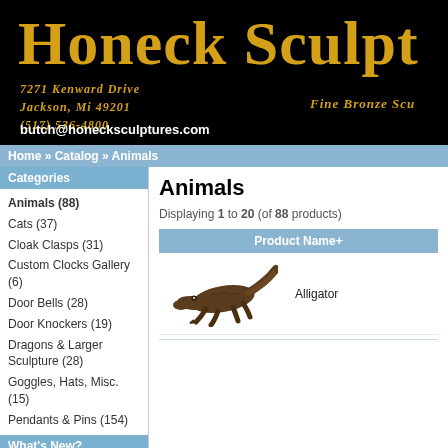Honeck Sculpt
7271 Kenward Drive
Jackson, MI 49201
(517) 536-4800
butch@honecksculptures.com
Fine Bronze Scu
Home » Catalog » Animals
Categories
Animals (88)
Cats (37)
Cloak Clasps (31)
Custom Clocks Gallery (6)
Door Bells (28)
Door Knockers (19)
Dragons & Larger Sculpture (28)
Goggles, Hats, Misc. (15)
Pendants & Pins (154)
What's New?
Animals
Displaying 1 to 20 (of 88 products)
| Product Name+ |
| --- |
| Alligator |
[Figure (illustration): Bronze alligator sculpture, dark patina, viewed from above/side]